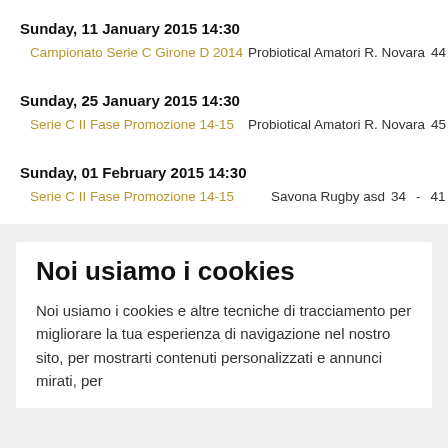Sunday, 11 January 2015 14:30
Campionato Serie C Girone D 2014  Probiotical Amatori R. Novara  44  -  22  Asd R...
Sunday, 25 January 2015 14:30
Serie C II Fase Promozione 14-15  Probiotical Amatori R. Novara  45  -  18  Rugb...
Sunday, 01 February 2015 14:30
Serie C II Fase Promozione 14-15  Savona Rugby asd  34  -  41  Probi...
Noi usiamo i cookies
Noi usiamo i cookies e altre tecniche di tracciamento per migliorare la tua esperienza di navigazione nel nostro sito, per mostrarti contenuti personalizzati e annunci mirati, per